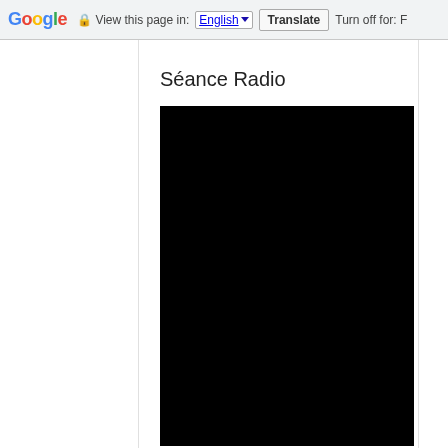Google  View this page in: English [▼]  Translate  Turn off for: F
Séance Radio
[Figure (photo): A completely black rectangular image placeholder]